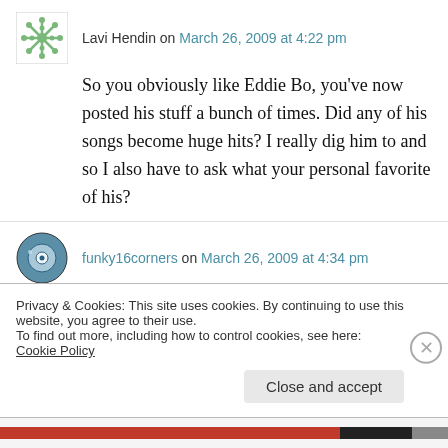Lavi Hendin on March 26, 2009 at 4:22 pm
So you obviously like Eddie Bo, you've now posted his stuff a bunch of times. Did any of his songs become huge hits? I really dig him to and so I also have to ask what your personal favorite of his?
funky16corners on March 26, 2009 at 4:34 pm
Privacy & Cookies: This site uses cookies. By continuing to use this website, you agree to their use. To find out more, including how to control cookies, see here: Cookie Policy